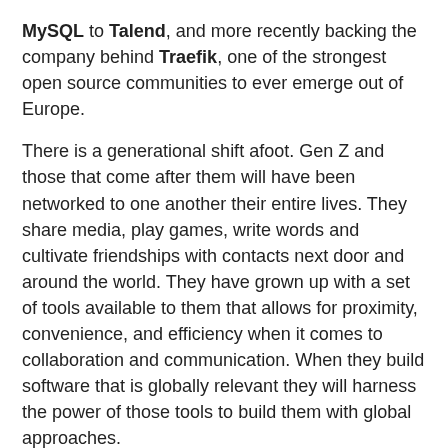MySQL to Talend, and more recently backing the company behind Traefik, one of the strongest open source communities to ever emerge out of Europe.
There is a generational shift afoot. Gen Z and those that come after them will have been networked to one another their entire lives. They share media, play games, write words and cultivate friendships with contacts next door and around the world. They have grown up with a set of tools available to them that allows for proximity, convenience, and efficiency when it comes to collaboration and communication. When they build software that is globally relevant they will harness the power of those tools to build them with global approaches.
It is interesting that even as we shift towards wider and more diverse collaboration among builders, the platforms they are ultimately building on are collapsing into fewer and fewer ecosystems. Whether it's the paucity of options in cloud hosting providers, the emergence of a single dominant